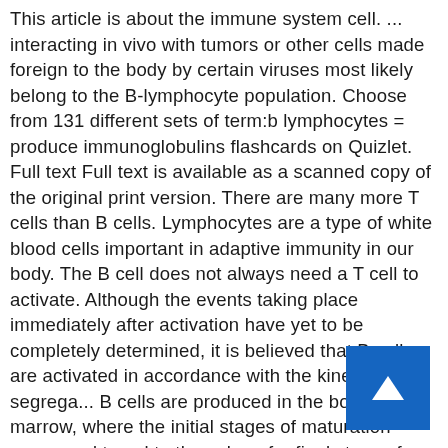This article is about the immune system cell. ... interacting in vivo with tumors or other cells made foreign to the body by certain viruses most likely belong to the B-lymphocyte population. Choose from 131 different sets of term:b lymphocytes = produce immunoglobulins flashcards on Quizlet. Full text Full text is available as a scanned copy of the original print version. There are many more T cells than B cells. Lymphocytes are a type of white blood cells important in adaptive immunity in our body. The B cell does not always need a T cell to activate. Although the events taking place immediately after activation have yet to be completely determined, it is believed that B cells are activated in accordance with the kinetic segrega... B cells are produced in the bone marrow, where the initial stages of maturation occur, and travel to the spleen for final steps of maturation into naïve mature B cells. 7.1). B Cells. B lymphocytes or B cells produce antibodies involved in humoral immunity. Maturation of B cells takes pla... e